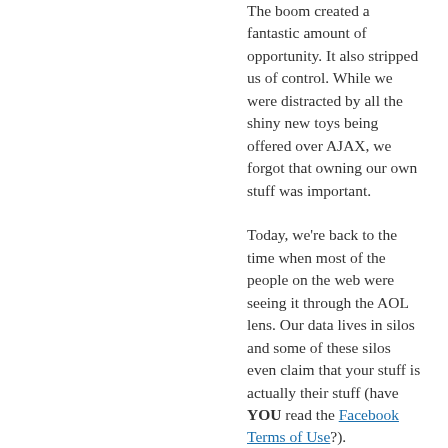The boom created a fantastic amount of opportunity. It also stripped us of control. While we were distracted by all the shiny new toys being offered over AJAX, we forgot that owning our own stuff was important.
Today, we're back to the time when most of the people on the web were seeing it through the AOL lens. Our data lives in silos and some of these silos even claim that your stuff is actually their stuff (have YOU read the Facebook Terms of Use?).